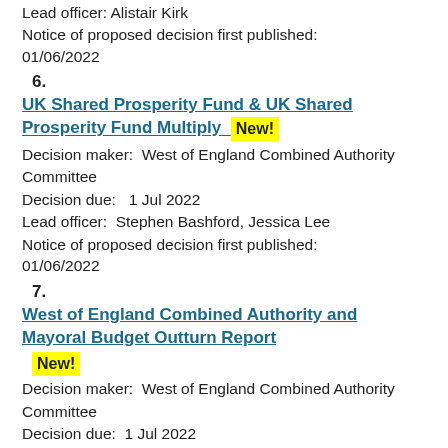Lead officer:  Alistair Kirk
Notice of proposed decision first published: 01/06/2022
6.
UK Shared Prosperity Fund & UK Shared Prosperity Fund Multiply  New!
Decision maker:  West of England Combined Authority Committee
Decision due:   1 Jul 2022
Lead officer:  Stephen Bashford, Jessica Lee
Notice of proposed decision first published: 01/06/2022
7.
West of England Combined Authority and Mayoral Budget Outturn Report  New!
Decision maker:  West of England Combined Authority Committee
Decision due:  1 Jul 2022